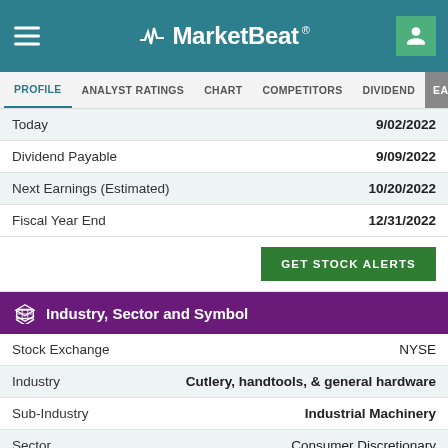MarketBeat
PROFILE | ANALYST RATINGS | CHART | COMPETITORS | DIVIDEND | EARNINGS
| Label | Value |
| --- | --- |
| Today | 9/02/2022 |
| Dividend Payable | 9/09/2022 |
| Next Earnings (Estimated) | 10/20/2022 |
| Fiscal Year End | 12/31/2022 |
Industry, Sector and Symbol
| Label | Value |
| --- | --- |
| Stock Exchange | NYSE |
| Industry | Cutlery, handtools, & general hardware |
| Sub-Industry | Industrial Machinery |
| Sector | Consumer Discretionary |
| Current Symbol | NYSE:SNA |
| CUSIP | 83303410 |
| CIK | 91440 |